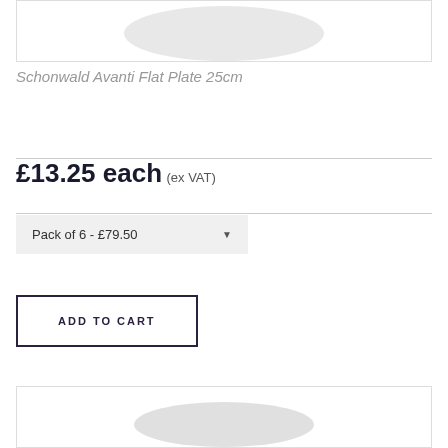[Figure (photo): Top portion of a white ceramic flat plate product image, partially cropped, showing the upper half of a round white plate on a white background with a light border box.]
Schonwald Avanti Flat Plate 25cm
£13.25 each (ex VAT)
Pack of 6 - £79.50
ADD TO CART
[Figure (photo): Bottom portion of a white ceramic flat plate product image, partially cropped, showing the lower portion of a round white plate on a white background with a light border box.]